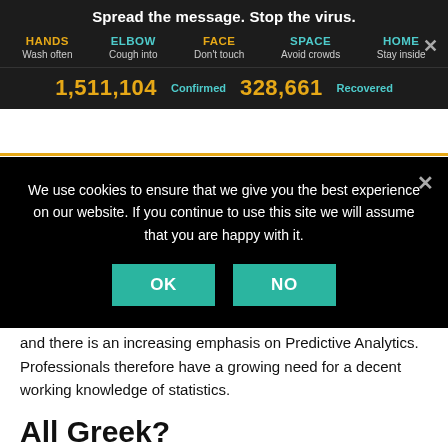Spread the message. Stop the virus.
HANDS Wash often | ELBOW Cough into | FACE Don't touch | SPACE Avoid crowds | HOME Stay inside
Amazon Naked Statistics. Since I already knew the author Charles Wheelan from his a... Naked Eco... essing the
1,511,104 Confirmed 328,661 Recovered
We use cookies to ensure that we give you the best experience on our website. If you continue to use this site we will assume that you are happy with it.
read Naked Statistics. We work with data on a daily basis and there is an increasing emphasis on Predictive Analytics. Professionals therefore have a growing need for a decent working knowledge of statistics.
All Greek?
Many people have a hard time with statistics. Colle